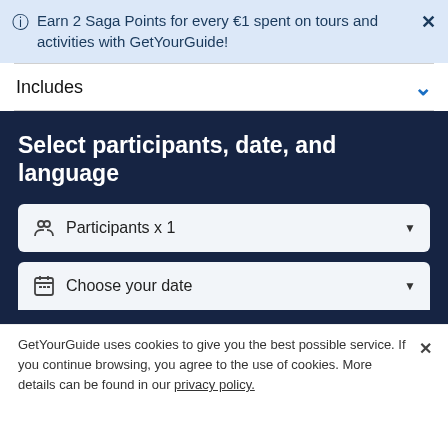Earn 2 Saga Points for every €1 spent on tours and activities with GetYourGuide!
Includes
Select participants, date, and language
Participants x 1
Choose your date
GetYourGuide uses cookies to give you the best possible service. If you continue browsing, you agree to the use of cookies. More details can be found in our privacy policy.